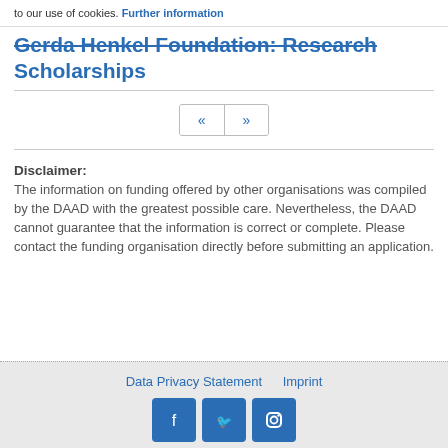to our use of cookies. Further information
Gerda Henkel Foundation: Research Scholarships
« »
Disclaimer: The information on funding offered by other organisations was compiled by the DAAD with the greatest possible care. Nevertheless, the DAAD cannot guarantee that the information is correct or complete. Please contact the funding organisation directly before submitting an application.
Data Privacy Statement   Imprint